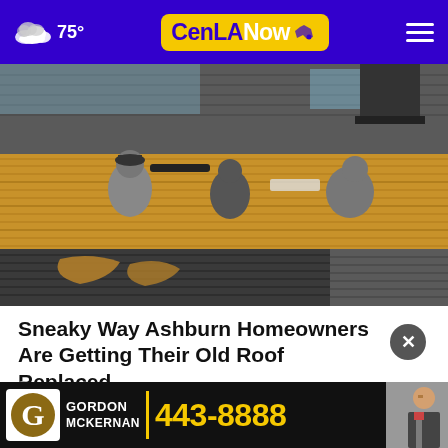75° CenLANow
[Figure (photo): Workers installing shingles on a roof, showing three workers on a partially completed roof with exposed wood sheathing and dark asphalt shingles. Multiple views of the roofing work.]
Sneaky Way Ashburn Homeowners Are Getting Their Old Roof Replaced
Smart
[Figure (other): Gordon McKernan law firm advertisement banner. Black background with yellow accents, featuring Gordon McKernan name and phone number 443-8888, with a photo of a man in a suit.]